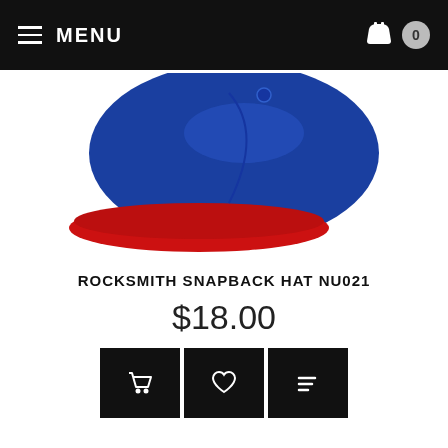MENU | Cart: 0
[Figure (photo): Blue and red snapback hat photographed from the side, showing the red brim and blue cap body]
ROCKSMITH SNAPBACK HAT NU021
$18.00
[Figure (infographic): Three black action buttons: add to cart (basket icon), wishlist (heart icon), and compare/list (lines icon)]
[Figure (photo): Two camouflage pattern hats (Rocksmith brand) shown from behind, one with white embroidered script logo]